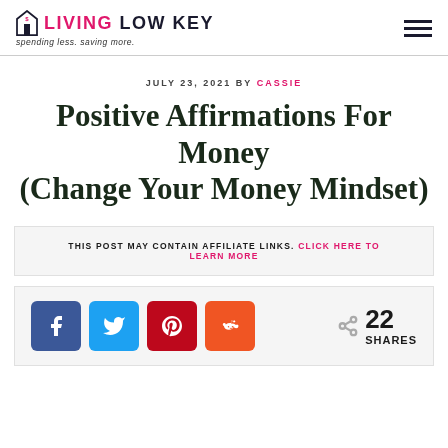LIVING LOW KEY — spending less. saving more.
JULY 23, 2021 BY CASSIE
Positive Affirmations For Money (Change Your Money Mindset)
THIS POST MAY CONTAIN AFFILIATE LINKS. CLICK HERE TO LEARN MORE
[Figure (infographic): Social share buttons: Facebook, Twitter, Pinterest, Reddit. Share count: 22 SHARES.]